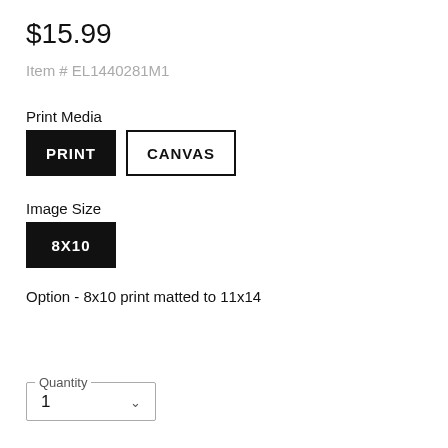$15.99
Item # EL1440281M1
Print Media
PRINT
CANVAS
Image Size
8X10
Option - 8x10 print matted to 11x14
Quantity
1